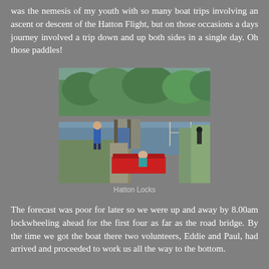was the nemesis of my youth with so many boat trips involving an ascent or descent of the Hatton Flight, but on those occasions a days journey involved a trip down and up both sides in a single day. Oh those paddles!
[Figure (photo): A canal lock scene at Hatton Locks showing a person in blue standing on the towpath beside open lock gates, and another person in a red narrowboat being steered through the lock. Green trees and canal infrastructure visible in the background.]
Hatton Locks
The forecast was poor for later so we were up and away by 8.00am lockwheeling ahead for the first four as far as the road bridge. By the time we got the boat there two volunteers, Eddie and Paul, had arrived and proceeded to work us all the way to the bottom.